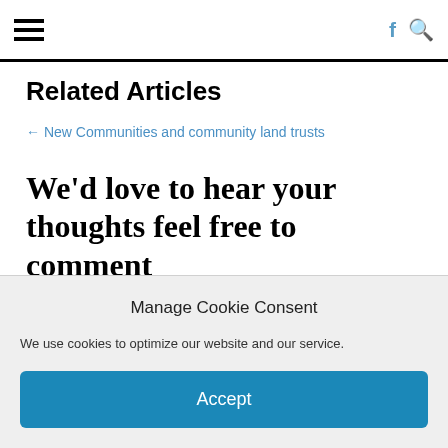≡  f 🔍
Related Articles
← New Communities and community land trusts
We'd love to hear your thoughts feel free to comment
Enter your comment...
Manage Cookie Consent
We use cookies to optimize our website and our service.
Accept